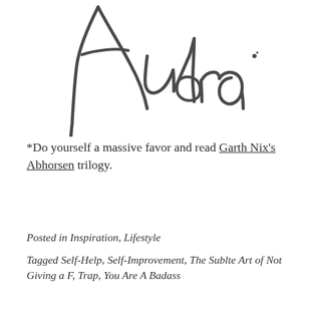[Figure (illustration): A handwritten cursive signature reading 'Audra' in dark gray ink, spanning the upper portion of the page.]
*Do yourself a massive favor and read Garth Nix's Abhorsen trilogy.
Posted in Inspiration, Lifestyle
Tagged Self-Help, Self-Improvement, The Sublte Art of Not Giving a F, Trap, You Are A Badass